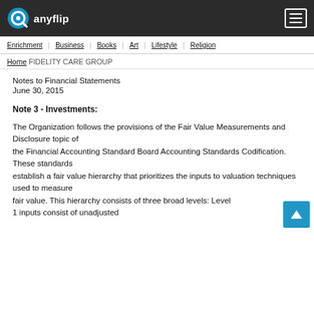anyflip
Enrichment | Business | Books | Art | Lifestyle | Religion
Home | FIDELITY CARE GROUP
Notes to Financial Statements
June 30, 2015
Note 3 - Investments:
The Organization follows the provisions of the Fair Value Measurements and Disclosure topic of the Financial Accounting Standard Board Accounting Standards Codification. These standards establish a fair value hierarchy that prioritizes the inputs to valuation techniques used to measure fair value. This hierarchy consists of three broad levels: Level 1 inputs consist of unadjusted